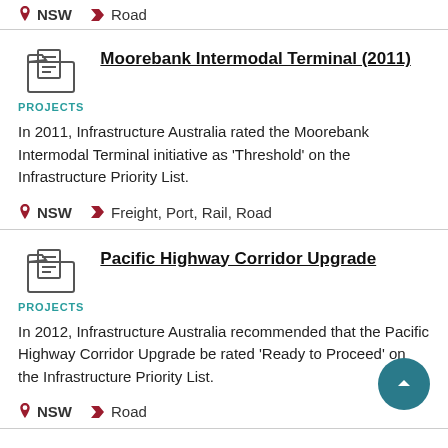NSW   Road
[Figure (illustration): File/document icon representing a project]
Moorebank Intermodal Terminal (2011)
PROJECTS
In 2011, Infrastructure Australia rated the Moorebank Intermodal Terminal initiative as ‘Threshold’ on the Infrastructure Priority List.
NSW   Freight, Port, Rail, Road
[Figure (illustration): File/document icon representing a project]
Pacific Highway Corridor Upgrade
PROJECTS
In 2012, Infrastructure Australia recommended that the Pacific Highway Corridor Upgrade be rated ‘Ready to Proceed’ on the Infrastructure Priority List.
NSW   Road